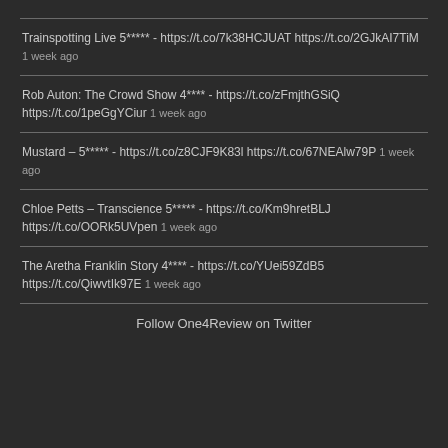Trainspotting Live 5***** - https://t.co/7k38HCJUAT https://t.co/2GJkAI7TiM 1 week ago
Rob Auton: The Crowd Show 4**** - https://t.co/zFmjthGSiQ https://t.co/1peGgYCiur 1 week ago
Mustard – 5***** - https://t.co/z8CJF9K83l https://t.co/67NEAlw79P 1 week ago
Chloe Petts – Transcience 5***** - https://t.co/Km9hretBLJ https://t.co/OORk5UVpen 1 week ago
The Aretha Franklin Story 4**** - https://t.co/YUei59ZdB5 https://t.co/QiwvtIk97E 1 week ago
Follow One4Review on Twitter